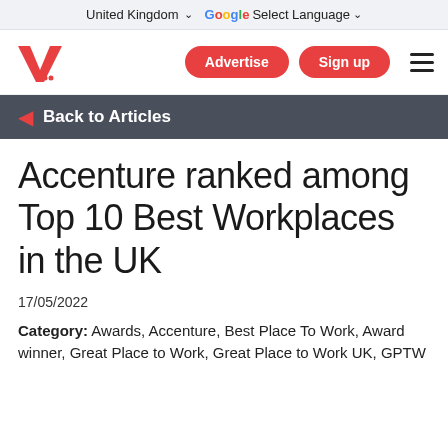United Kingdom   Google Select Language
[Figure (logo): Vuelio logo - red V with quotation marks]
Advertise  Sign up  (hamburger menu)
Back to Articles
Accenture ranked among Top 10 Best Workplaces in the UK
17/05/2022
Category: Awards, Accenture, Best Place To Work, Award winner, Great Place to Work, Great Place to Work UK, GPTW